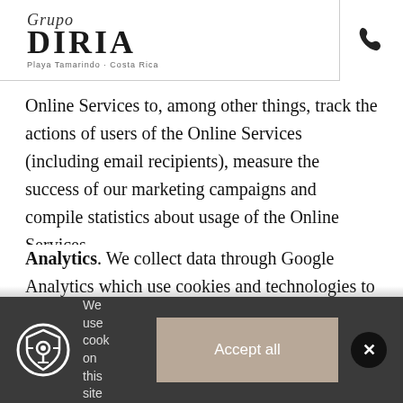Grupo DIRIA — Playa Tamarindo · Costa Rica
Online Services to, among other things, track the actions of users of the Online Services (including email recipients), measure the success of our marketing campaigns and compile statistics about usage of the Online Services.
Analytics. We collect data through Google Analytics which use cookies and technologies to collect and analyze data about use of the Services. These services
We use cook on this site
Accept all